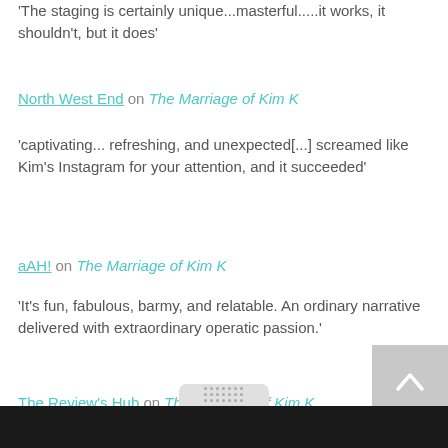'The staging is certainly unique...masterful.....it works, it shouldn't, but it does'
North West End on The Marriage of Kim K
'captivating... refreshing, and unexpected[...] screamed like Kim's Instagram for your attention, and it succeeded'
aAH! on The Marriage of Kim K
'It's fun, fabulous, barmy, and relatable. An ordinary narrative delivered with extraordinary operatic passion.'
The Review's Hub on The Marriage of Kim K
'Director, Franciska Ery has melded her team into a well-drilled (and apparently happy) unit'
Quays Life on The Marriage of Kim K